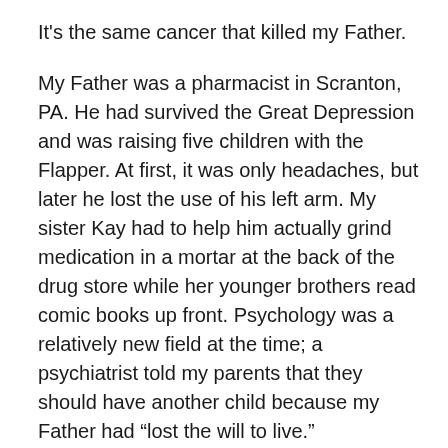It's the same cancer that killed my Father.
My Father was a pharmacist in Scranton, PA. He had survived the Great Depression and was raising five children with the Flapper. At first, it was only headaches, but later he lost the use of his left arm. My sister Kay had to help him actually grind medication in a mortar at the back of the drug store while her younger brothers read comic books up front. Psychology was a relatively new field at the time; a psychiatrist told my parents that they should have another child because my Father had “lost the will to live.”
I am that sixth child and I wouldn’t be here if it weren’t for his glioblastoma. The Flapper always joked that I was the only child she had planned! My Father’s friend, an ophthalmologist, noticed his bulging retina and sent him